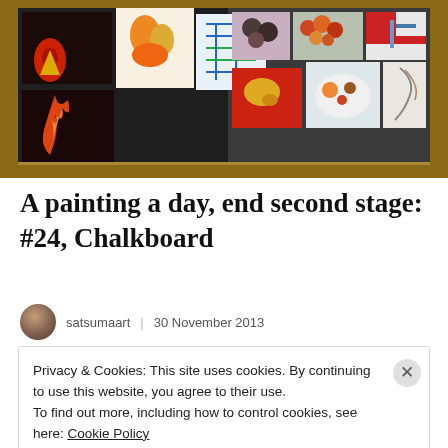[Figure (photo): A chalkboard covered with various small paintings and sketches displayed in a wooden frame, showing still lifes, abstract art, and other artwork pieces.]
A painting a day, end second stage: #24, Chalkboard
satsumaart  |  30 November 2013
Privacy & Cookies: This site uses cookies. By continuing to use this website, you agree to their use.
To find out more, including how to control cookies, see here: Cookie Policy
Close and accept